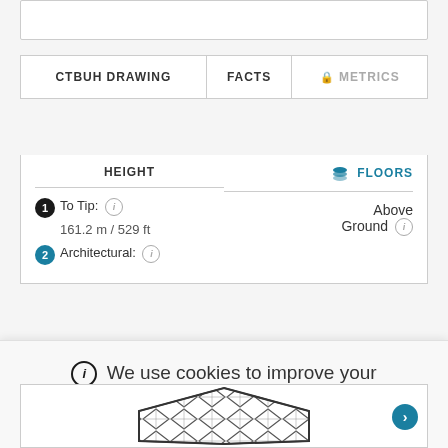| CTBUH DRAWING | FACTS | METRICS |
| --- | --- | --- |
| HEIGHT |  | FLOORS |
| 1 To Tip: (i)
161.2 m / 529 ft |  | Above Ground (i) |
| 2 Architectural: (i) |  |  |
We use cookies to improve your experience on our website. Review our Privacy Policy for more information.
✓ Allow cookies
[Figure (engineering-diagram): Partial architectural/structural diamond-pattern facade drawing of a tall building]